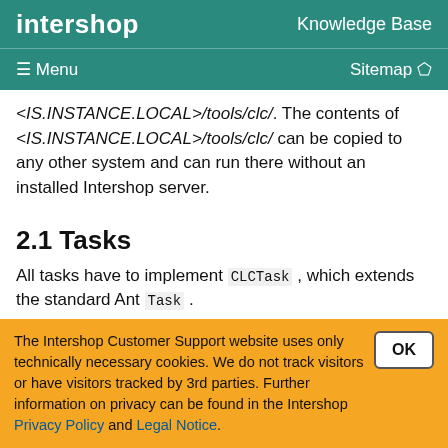intershop   Knowledge Base
≡ Menu   Sitemap
<IS.INSTANCE.LOCAL>/tools/clc/. The contents of <IS.INSTANCE.LOCAL>/tools/clc/ can be copied to any other system and can run there without an installed Intershop server.
2.1 Tasks
All tasks have to implement CLCTask , which extends the standard Ant Task .
The runjob and import tasks have to communicate with the REST API on the server. For that purpose, the Jersey REST
The Intershop Customer Support website uses only technically necessary cookies. We do not track visitors or have visitors tracked by 3rd parties. Further information on privacy can be found in the Intershop Privacy Policy and Legal Notice.